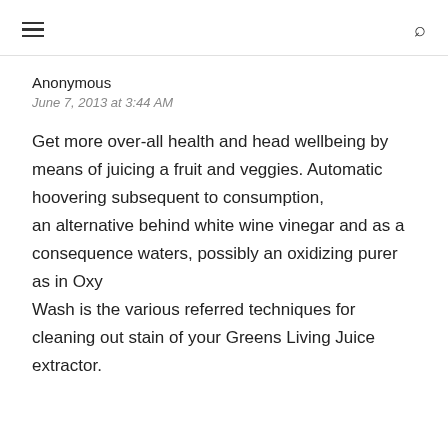≡ 🔍
Anonymous
June 7, 2013 at 3:44 AM
Get more over-all health and head wellbeing by means of juicing a fruit and veggies. Automatic hoovering subsequent to consumption, an alternative behind white wine vinegar and as a consequence waters, possibly an oxidizing purer as in Oxy Wash is the various referred techniques for cleaning out stain of your Greens Living Juice extractor.